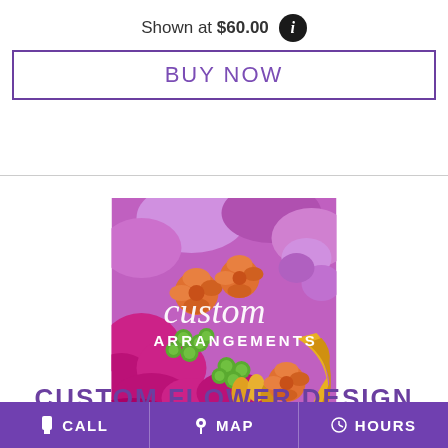Shown at $60.00
BUY NOW
[Figure (photo): Colorful custom flower arrangement with orange roses, purple/pink flowers, green berries, and yellow ribbon. Text overlay reads 'custom ARRANGEMENTS'.]
CUSTOM FLOWER DESIGN
CALL   MAP   HOURS